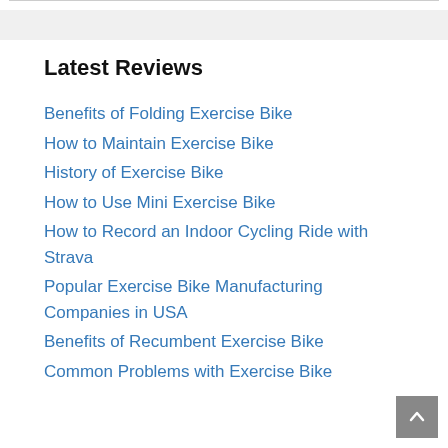Latest Reviews
Benefits of Folding Exercise Bike
How to Maintain Exercise Bike
History of Exercise Bike
How to Use Mini Exercise Bike
How to Record an Indoor Cycling Ride with Strava
Popular Exercise Bike Manufacturing Companies in USA
Benefits of Recumbent Exercise Bike
Common Problems with Exercise Bike